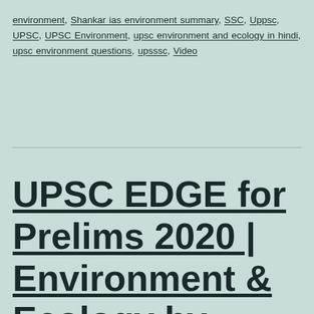environment, Shankar ias environment summary, SSC, Uppsc, UPSC, UPSC Environment, upsc environment and ecology in hindi, upsc environment questions, upsssc, Video
UPSC EDGE for Prelims 2020 | Environment & Ecology by Sumit Sir | Aquatic Ecosystems